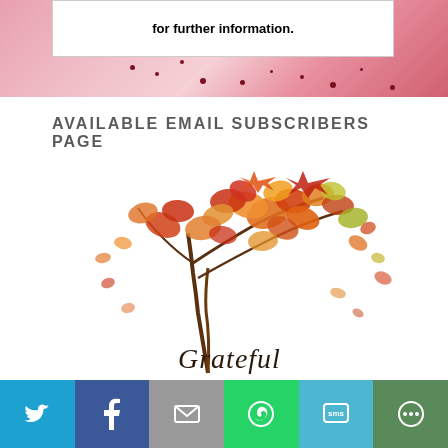[Figure (photo): Pink flower close-up image with a white box overlay containing bold text 'for further information.']
AVAILABLE EMAIL SUBSCRIBERS PAGE
[Figure (illustration): Colorful autumn tree illustration with orange, red, and yellow leaves, with cursive text 'Grateful' at the bottom]
[Figure (infographic): Social sharing bar with Twitter, Facebook, Email, WhatsApp, SMS, and More buttons]